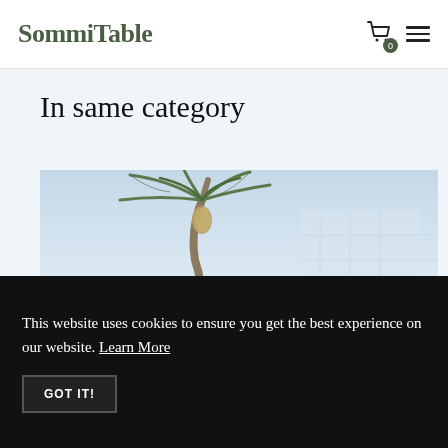SommiTable
In same category
[Figure (photo): Partial view of a palm tree with pineapple-like fruit against a light blue sky, showing building structure in background]
This website uses cookies to ensure you get the best experience on our website. Learn More
GOT IT!